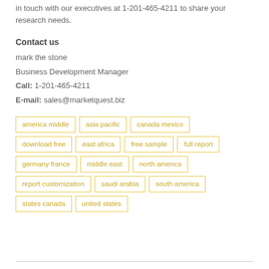in touch with our executives at 1-201-465-4211 to share your research needs.
Contact us
mark the stone
Business Development Manager
Call: 1-201-465-4211
E-mail: sales@marketquest.biz
america middle
asia pacific
canada mexico
download free
east africa
free sample
full report
germany france
middle east
north america
report customization
saudi arabia
south america
states canada
united states